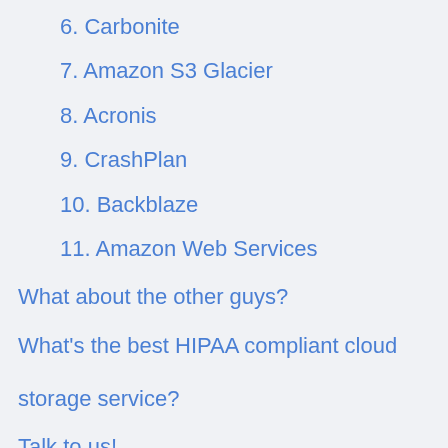6. Carbonite
7. Amazon S3 Glacier
8. Acronis
9. CrashPlan
10. Backblaze
11. Amazon Web Services
What about the other guys?
What's the best HIPAA compliant cloud storage service?
Talk to us!